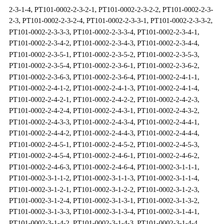2-3-1-4, PT101-0002-2-3-2-1, PT101-0002-2-3-2-2, PT101-0002-2-3-2-3, PT101-0002-2-3-2-4, PT101-0002-2-3-3-1, PT101-0002-2-3-3-2, PT101-0002-2-3-3-3, PT101-0002-2-3-3-4, PT101-0002-2-3-4-1, PT101-0002-2-3-4-2, PT101-0002-2-3-4-3, PT101-0002-2-3-4-4, PT101-0002-2-3-5-1, PT101-0002-2-3-5-2, PT101-0002-2-3-5-3, PT101-0002-2-3-5-4, PT101-0002-2-3-6-1, PT101-0002-2-3-6-2, PT101-0002-2-3-6-3, PT101-0002-2-3-6-4, PT101-0002-2-4-1-1, PT101-0002-2-4-1-2, PT101-0002-2-4-1-3, PT101-0002-2-4-1-4, PT101-0002-2-4-2-1, PT101-0002-2-4-2-2, PT101-0002-2-4-2-3, PT101-0002-2-4-2-4, PT101-0002-2-4-3-1, PT101-0002-2-4-3-2, PT101-0002-2-4-3-3, PT101-0002-2-4-3-4, PT101-0002-2-4-4-1, PT101-0002-2-4-4-2, PT101-0002-2-4-4-3, PT101-0002-2-4-4-4, PT101-0002-2-4-5-1, PT101-0002-2-4-5-2, PT101-0002-2-4-5-3, PT101-0002-2-4-5-4, PT101-0002-2-4-6-1, PT101-0002-2-4-6-2, PT101-0002-2-4-6-3, PT101-0002-2-4-6-4, PT101-0002-3-1-1-1, PT101-0002-3-1-1-2, PT101-0002-3-1-1-3, PT101-0002-3-1-1-4, PT101-0002-3-1-2-1, PT101-0002-3-1-2-2, PT101-0002-3-1-2-3, PT101-0002-3-1-2-4, PT101-0002-3-1-3-1, PT101-0002-3-1-3-2, PT101-0002-3-1-3-3, PT101-0002-3-1-3-4, PT101-0002-3-1-4-1, PT101-0002-3-1-4-2, PT101-0002-3-1-4-3, PT101-0002-3-1-4-4, PT101-0002-3-1-5-1, PT101-0002-3-1-5-2, PT101-0002-3-1-5-3, PT101-0002-3-1-5-4, PT101-0002-3-1-6-1, PT101-0002-3-1-6-2, PT101-0002-3-1-6-3, PT101-0002-3-1-6-4, PT101-0002-3-2-1-1, PT101-0002-3-2-1-2, PT101-0002-3-2-1-3, PT101-0002-3-2-1-4, PT101-0002-3-2-2-1